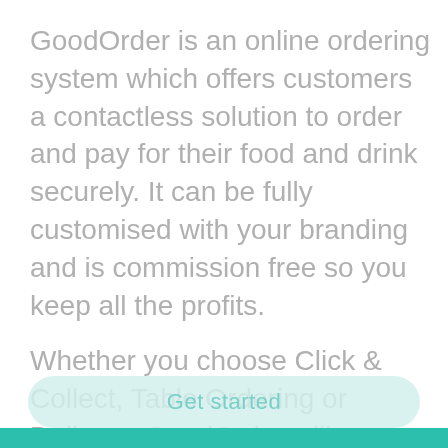GoodOrder is an online ordering system which offers customers a contactless solution to order and pay for their food and drink securely. It can be fully customised with your branding and is commission free so you keep all the profits.
Whether you choose Click & Collect, Table Ordering or Delivery, GoodOrder will ensure you give your customers a safe and seamless ordering experience every time.